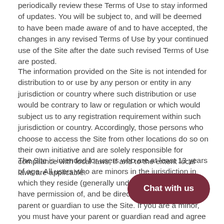periodically review these Terms of Use to stay informed of updates. You will be subject to, and will be deemed to have been made aware of and to have accepted, the changes in any revised Terms of Use by your continued use of the Site after the date such revised Terms of Use are posted.
The information provided on the Site is not intended for distribution to or use by any person or entity in any jurisdiction or country where such distribution or use would be contrary to law or regulation or which would subject us to any registration requirement within such jurisdiction or country. Accordingly, those persons who choose to access the Site from other locations do so on their own initiative and are solely responsible for compliance with local laws, if and to the extent local laws are applicable.
The Site is intended for users who are at least 13 years of age. All users who are minors in the jurisdiction in which they reside (generally under the age of 18) must have permission of, and be directly supervised by, their parent or guardian to use the Site. If you are a minor, you must have your parent or guardian read and agree to these Terms of Use prior to you